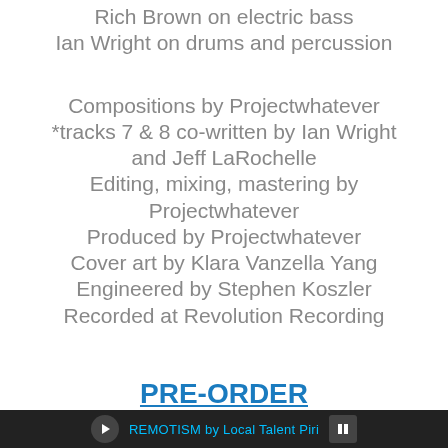Rich Brown on electric bass
Ian Wright on drums and percussion
Compositions by Projectwhatever
*tracks 7 & 8 co-written by Ian Wright and Jeff LaRochelle
Editing, mixing, mastering by Projectwhatever
Produced by Projectwhatever
Cover art by Klara Vanzella Yang
Engineered by Stephen Koszler
Recorded at Revolution Recording
PRE-ORDER
REMOTISM by Local Talent Piri